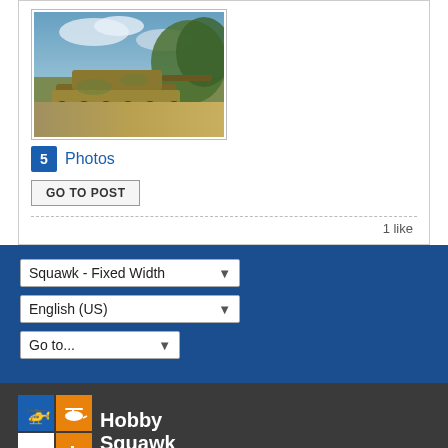[Figure (photo): Painted illustration of a WWII German tank (assault gun) on a dirt path with green foliage background]
5 Photos
GO TO POST
1 like
Squawk - Fixed Width
English (US)
Go to...
[Figure (logo): Hobby Squawk logo with blue and orange grid squares and white text]
Copyright © 2021 Hobby Squawk™
Powered by vBulletin® Version 5.6.4
Copyright © 2022 MH Sub I, LLC dba vBulletin. All rights reserved.
All times are GMT-6. This page was generated at 07:36 AM.